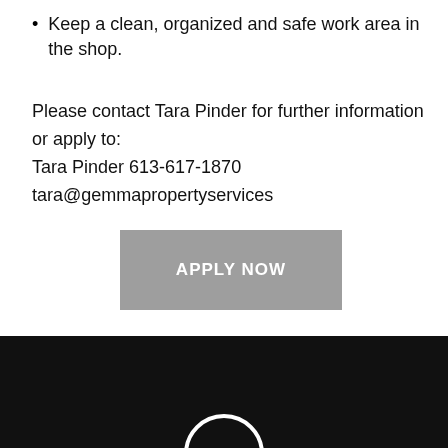Keep a clean, organized and safe work area in the shop.
Please contact Tara Pinder for further information or apply to:
Tara Pinder 613-617-1870
tara@gemmapropertyservices
[Figure (other): Gray button with white bold text reading APPLY NOW]
[Figure (other): Black footer section with a partial white circular logo/icon visible at the bottom center]